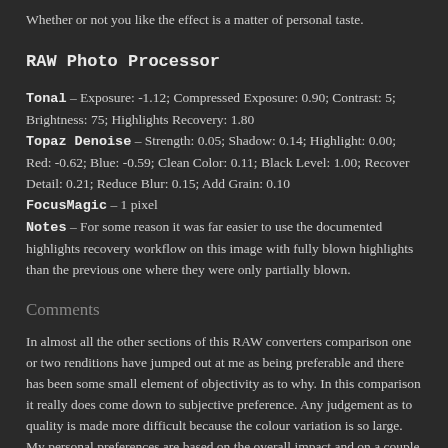Whether or not you like the effect is a matter of personal taste.
RAW Photo Processor
Tonal – Exposure: -1.12; Compressed Exposure: 0.90; Contrast: 5; Brightness: 75; Highlights Recovery: 1.80
Topaz Denoise – Strength: 0.05; Shadow: 0.14; Highlight: 0.00; Red: -0.62; Blue: -0.59; Clean Color: 0.11; Black Level: 1.00; Recover Detail: 0.21; Reduce Blur: 0.15; Add Grain: 0.10
FocusMagic – 1 pixel
Notes – For some reason it was far easier to use the documented highlights recovery workflow on this image with fully blown highlights than the previous one where they were only partially blown.
Comments
In almost all the other sections of this RAW converters comparison one or two renditions have jumped out at me as being preferable and there has been some small element of objectivity as to why. In this comparison it really does come down to subjective preference. Any judgement as to quality is made more difficult because the colour variation is so large. My personal preferences are based on the overall impact and on a couple of specific areas of the image